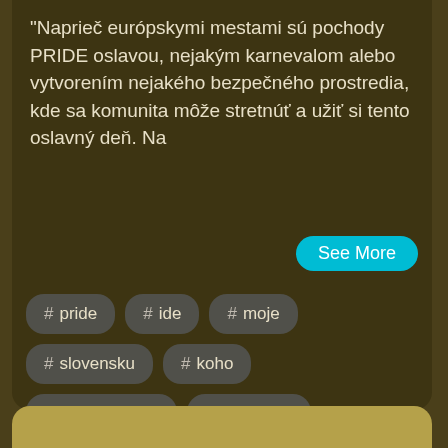"Naprieč európskymi mestami sú pochody PRIDE oslavou, nejakým karnevalom alebo vytvorením nejakého bezpečného prostredia, kde sa komunita môže stretnúť a užiť si tento oslavný deň. Na
See More
# pride
# ide
# moje
# slovensku
# koho
# na slovensku
# bratislave
# organiz
# torka
# miluje
# mohlo
# zhov